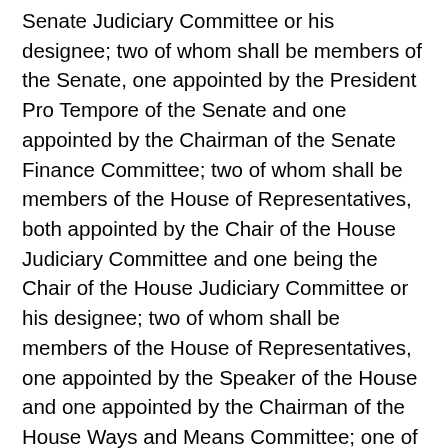Senate Judiciary Committee or his designee; two of whom shall be members of the Senate, one appointed by the President Pro Tempore of the Senate and one appointed by the Chairman of the Senate Finance Committee; two of whom shall be members of the House of Representatives, both appointed by the Chair of the House Judiciary Committee and one being the Chair of the House Judiciary Committee or his designee; two of whom shall be members of the House of Representatives, one appointed by the Speaker of the House and one appointed by the Chairman of the House Ways and Means Committee; one of whom shall be appointed by the Chair of the Senate Judiciary Committee from the general public at large; one of whom shall be appointed by the Chair of the House Judiciary Committee from the general public at large; and one of whom shall be appointed by the Governor. Provided, however, that in